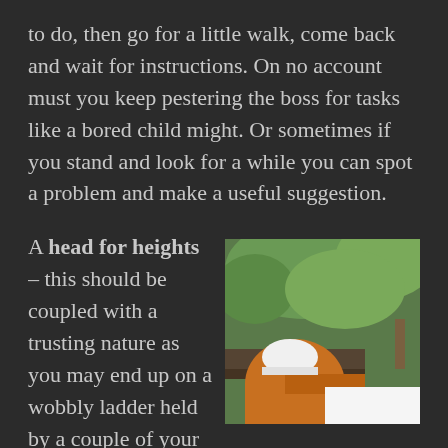to do, then go for a little walk, come back and wait for instructions. On no account must you keep pestering the boss for tasks like a bored child might. Or sometimes if you stand and look for a while you can spot a problem and make a useful suggestion.
A head for heights – this should be coupled with a trusting nature as you may end up on a wobbly ladder held by a couple of your workmates.
[Figure (photo): A worker in orange clothing and white helmet working on a roof, with green trees/foliage in the background]